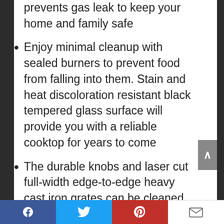prevents gas leak to keep your home and family safe
Enjoy minimal cleanup with sealed burners to prevent food from falling into them. Stain and heat discoloration resistant black tempered glass surface will provide you with a reliable cooktop for years to come
The durable knobs and laser cut full-width edge-to-edge heavy cast iron grates can be cleaned in the dishwasher for hassle-free, effortless cleaning and